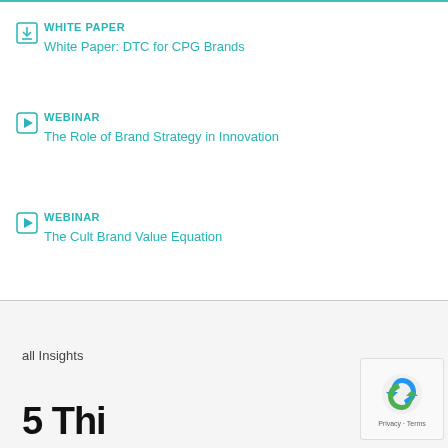WHITE PAPER
White Paper: DTC for CPG Brands
WEBINAR
The Role of Brand Strategy in Innovation
WEBINAR
The Cult Brand Value Equation
all Insights
5 Things You Should...